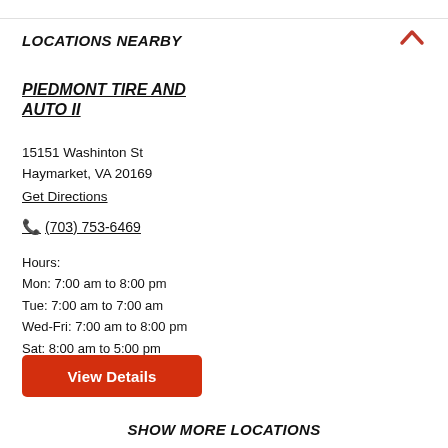LOCATIONS NEARBY
PIEDMONT TIRE AND AUTO II
15151 Washinton St
Haymarket, VA 20169
Get Directions
(703) 753-6469
Hours:
Mon: 7:00 am to 8:00 pm
Tue: 7:00 am to 7:00 am
Wed-Fri: 7:00 am to 8:00 pm
Sat: 8:00 am to 5:00 pm
View Details
SHOW MORE LOCATIONS